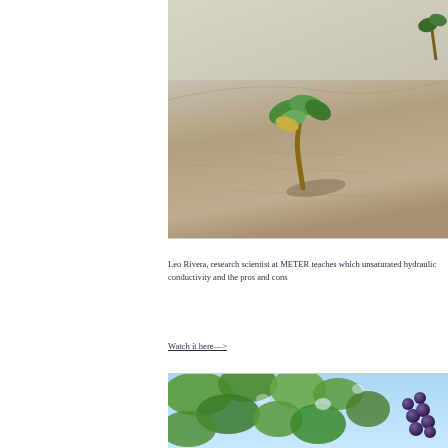[Figure (photo): A small green plant seedling growing up through sandy dune soil, with a curved brown stem and green leaves at the top, casting a shadow on the sand. Bright daylight, outdoor setting.]
Leo Rivera, research scientist at METER teaches which unsaturated hydraulic conductivity and the pros and cons
Watch it here—>
[Figure (photo): Close-up of green leafy branches with clusters of dark purple/blue grapes visible among the foliage, with bright sky visible through the leaves.]